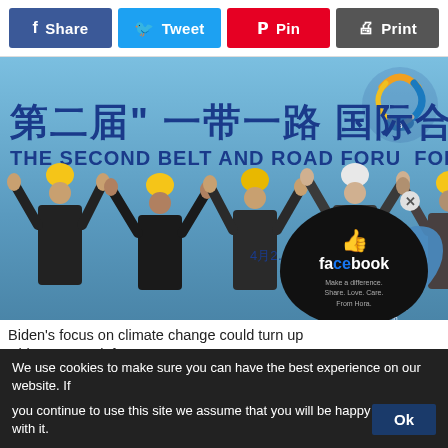[Figure (infographic): Social share buttons row: Facebook Share (blue), Twitter Tweet (cyan), Pinterest Pin (red), Print (grey)]
[Figure (photo): Workers in hard hats raising hands in front of a Belt and Road Forum banner with Chinese text (第二届一带一路国际合…) and English text (THE SECOND BELT AND ROAD FORUM FOR INTER…). Logo visible top right. Facebook overlay widget in bottom right corner.]
Biden's focus on climate change could turn up China's mega infrastructure program
We use cookies to make sure you can have the best experience on our website. If you continue to use this site we assume that you will be happy with it.